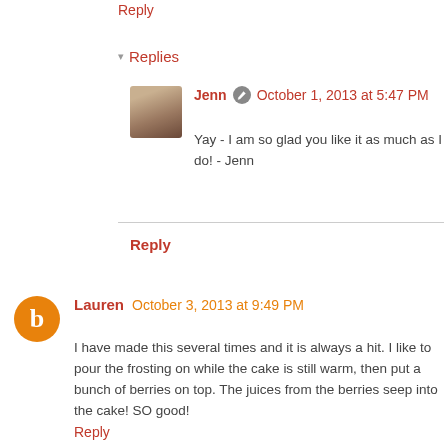Reply
▾ Replies
Jenn  October 1, 2013 at 5:47 PM
Yay - I am so glad you like it as much as I do! - Jenn
Reply
Lauren  October 3, 2013 at 9:49 PM
I have made this several times and it is always a hit. I like to pour the frosting on while the cake is still warm, then put a bunch of berries on top. The juices from the berries seep into the cake! SO good!
Reply
▾ Replies
Jenn  October 5, 2013 at 8:42 PM